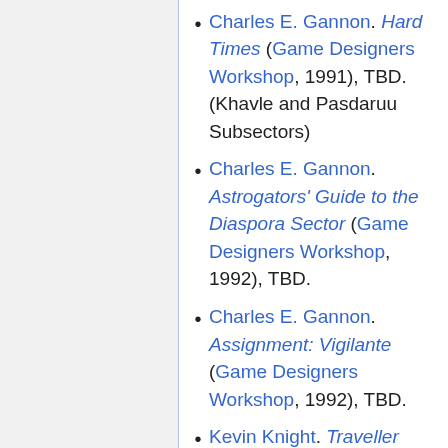provided)
Charles E. Gannon. Hard Times (Game Designers Workshop, 1991), TBD. (Khavle and Pasdaruu Subsectors)
Charles E. Gannon. Astrogators' Guide to the Diaspora Sector (Game Designers Workshop, 1992), TBD.
Charles E. Gannon. Assignment: Vigilante (Game Designers Workshop, 1992), TBD.
Kevin Knight. Traveller Chronicle 02 (Sword of the Knight Publications, 1993), TBD.
Kevin Knight. Traveller